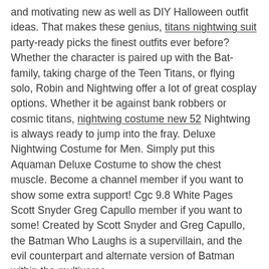and motivating new as well as DIY Halloween outfit ideas. That makes these genius, titans nightwing suit party-ready picks the finest outfits ever before? Whether the character is paired up with the Bat-family, taking charge of the Teen Titans, or flying solo, Robin and Nightwing offer a lot of great cosplay options. Whether it be against bank robbers or cosmic titans, nightwing costume new 52 Nightwing is always ready to jump into the fray. Deluxe Nightwing Costume for Men. Simply put this Aquaman Deluxe Costume to show the chest muscle. Become a channel member if you want to show some extra support! Cgc 9.8 White Pages Scott Snyder Greg Capullo member if you want to some! Created by Scott Snyder and Greg Capullo, the Batman Who Laughs is a supervillain, and the evil counterpart and alternate version of Batman within the multiverse.
Version 2.0 by SpicyPandaCreations in Costumes & Cosplay. 17.98. The Batman Who Laughs, an alternative version of Batman from a different universe, is one